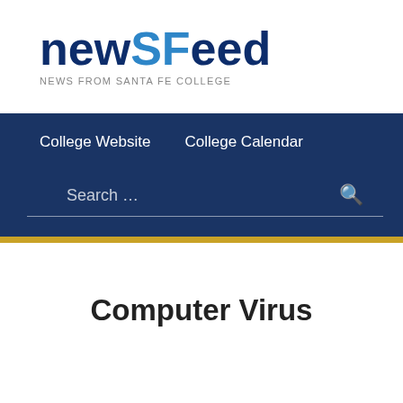[Figure (logo): newSFeed logo — 'new' and 'Feed' in dark navy, 'SF' in blue, with tagline 'NEWS FROM SANTA FE COLLEGE' below]
College Website   College Calendar
Search …
Computer Virus